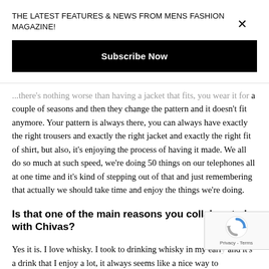THE LATEST FEATURES & NEWS FROM MENS FASHION MAGAZINE!
Subscribe Now
...there's nothing worse than having a jacket that fits, you wear it for a couple of seasons and then they change the pattern and it doesn't fit anymore. Your pattern is always there, you can always have exactly the right trousers and exactly the right jacket and exactly the right fit of shirt, but also, it's enjoying the process of having it made. We all do so much at such speed, we're doing 50 things on our telephones all at one time and it's kind of stepping out of that and just remembering that actually we should take time and enjoy the things we're doing.
Is that one of the main reasons you collaborated with Chivas?
Yes it is. I love whisky. I took to drinking whisky in my early and it's a drink that I enjoy a lot, it always seems like a nice way to